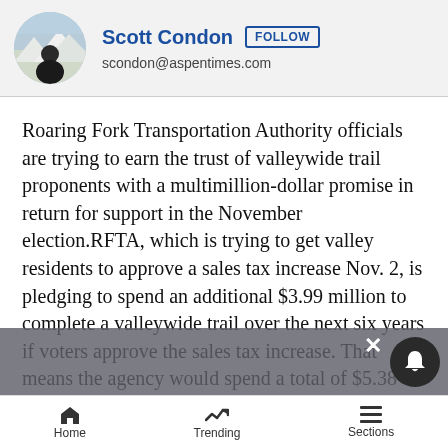Scott Condon | FOLLOW | scondon@aspentimes.com
Roaring Fork Transportation Authority officials are trying to earn the trust of valleywide trail proponents with a multimillion-dollar promise in return for support in the November election.RFTA, which is trying to get valley residents to approve a sales tax increase Nov. 2, is pledging to spend an additional $3.99 million to complete a valleywide trail over the next six years if voters approve the sales tax increase. That means the agency would spend a total of $5.38 million to complete the trail to Glenwood Springs by the year 2010, according to Dan Blankenship, RFTA chief executive officer.About $1.39 million is pledged to
Home | Trending | Sections